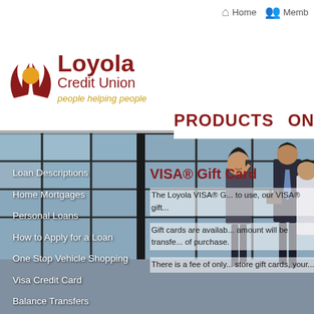Home  Memb
[Figure (logo): Loyola Credit Union logo with flame/people icon in dark red and orange, text Loyola Credit Union, tagline people helping people]
PRODUCTS | ON
[Figure (photo): Background photo of business people in suits standing in front of a modern glass building]
Loan Descriptions
Home Mortgages
Personal Loans
How to Apply for a Loan
One Stop Vehicle Shopping
Visa Credit Card
Balance Transfers
Debit Card
Gift Cards
Visa Resources
VISA® Gift Card
The Loyola VISA® G... to use, our VISA® gift...
Gift cards are availab... amount will be transfe... of purchase.
There is a fee of only... store gift cards, your...